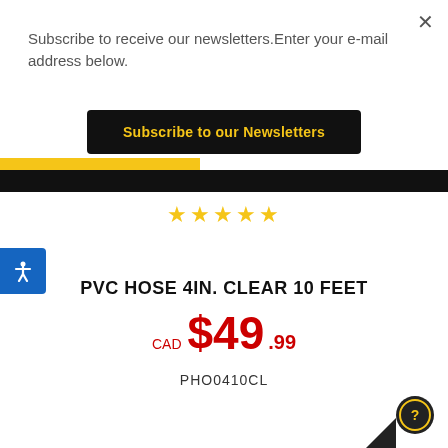Subscribe to receive our newsletters.Enter your e-mail address below.
Subscribe to our Newsletters
[Figure (other): Five gold star rating icons]
PVC HOSE 4IN. CLEAR 10 FEET
CAD $49.99
PHO0410CL